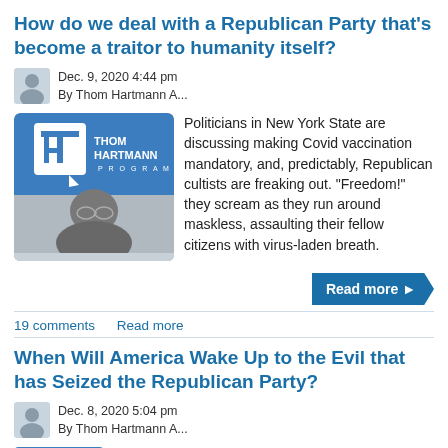How do we deal with a Republican Party that's become a traitor to humanity itself?
Dec. 9, 2020 4:44 pm
By Thom Hartmann A...
[Figure (photo): Thom Hartmann Program logo and headshot image]
Politicians in New York State are discussing making Covid vaccination mandatory, and, predictably, Republican cultists are freaking out. "Freedom!" they scream as they run around maskless, assaulting their fellow citizens with virus-laden breath.
Read more
19 comments   Read more
When Will America Wake Up to the Evil that has Seized the Republican Party?
Dec. 8, 2020 5:04 pm
By Thom Hartmann A...
[Figure (photo): Thom Hartmann Program logo thumbnail]
We've seen it around the world and throughout history when a political part...